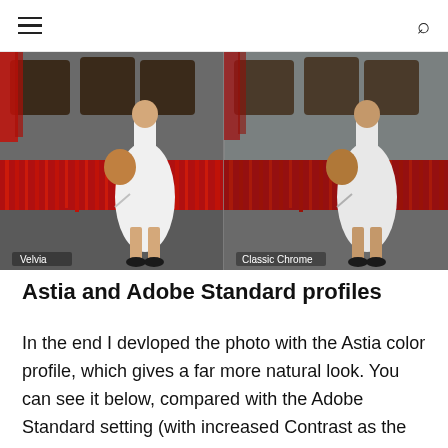≡  🔍
[Figure (photo): Side-by-side comparison of two photo processing profiles: left panel labeled 'Velvia' and right panel labeled 'Classic Chrome', both showing a woman in a white dress standing in front of red decorations and Buddhist temple drums.]
Astia and Adobe Standard profiles
In the end I devloped the photo with the Astia color profile, which gives a far more natural look. You can see it below, compared with the Adobe Standard setting (with increased Contrast as the starting...